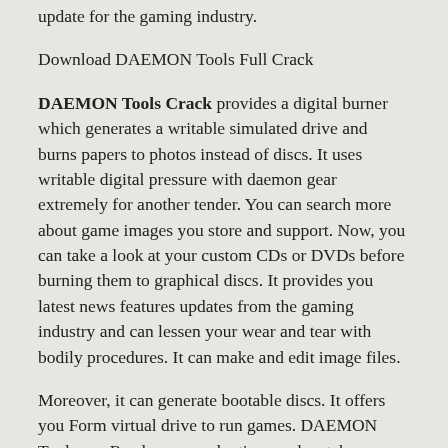update for the gaming industry.
Download DAEMON Tools Full Crack
DAEMON Tools Crack provides a digital burner which generates a writable simulated drive and burns papers to photos instead of discs. It uses writable digital pressure with daemon gear extremely for another tender. You can search more about game images you store and support. Now, you can take a look at your custom CDs or DVDs before burning them to graphical discs. It provides you latest news features updates from the gaming industry and can lessen your wear and tear with bodily procedures. It can make and edit image files.
Moreover, it can generate bootable discs. It offers you Form virtual drive to run games. DAEMON Tools can Read game evaluations and watch associated videos.